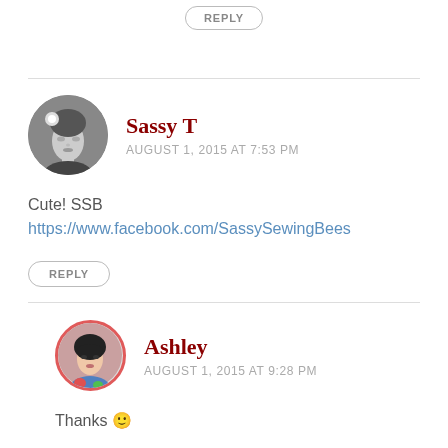[Figure (other): Partial REPLY button at top of page]
Sassy T
AUGUST 1, 2015 AT 7:53 PM
Cute! SSB https://www.facebook.com/SassySewingBees
REPLY
Ashley
AUGUST 1, 2015 AT 9:28 PM
Thanks 🙂
REPLY